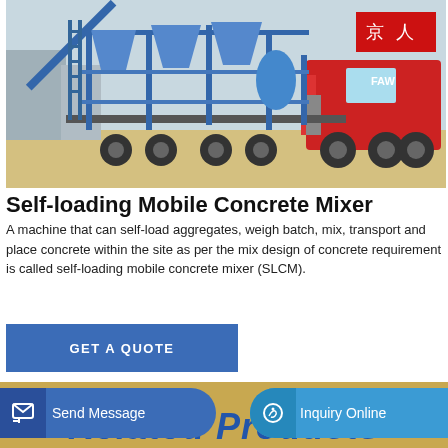[Figure (photo): A self-loading mobile concrete mixer plant (blue steel frame with hoppers and conveyor) mounted on a trailer, pulled by a red FAW truck, photographed outdoors in a yard.]
Self-loading Mobile Concrete Mixer
A machine that can self-load aggregates, weigh batch, mix, transport and place concrete within the site as per the mix design of concrete requirement is called self-loading mobile concrete mixer (SLCM).
GET A QUOTE
Send Message
Inquiry Online
Related Products